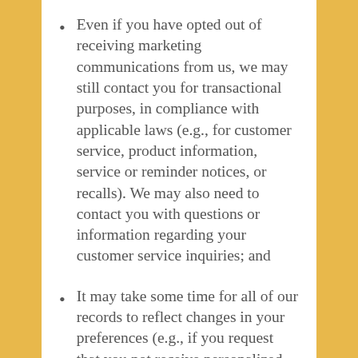Even if you have opted out of receiving marketing communications from us, we may still contact you for transactional purposes, in compliance with applicable laws (e.g., for customer service, product information, service or reminder notices, or recalls). We may also need to contact you with questions or information regarding your customer service inquiries; and
It may take some time for all of our records to reflect changes in your preferences (e.g., if you request that you not receive personalized marketing communications from Circle K, your